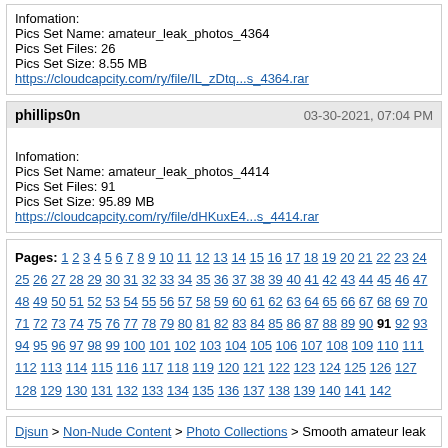Infomation:
Pics Set Name: amateur_leak_photos_4364
Pics Set Files: 26
Pics Set Size: 8.55 MB
https://cloudcapcity.com/ry/file/IL_zDtq...s_4364.rar
phillipsOn  03-30-2021, 07:04 PM
Infomation:
Pics Set Name: amateur_leak_photos_4414
Pics Set Files: 91
Pics Set Size: 95.89 MB
https://cloudcapcity.com/ry/file/dHKuxE4...s_4414.rar
Pages: 1 2 3 4 5 6 7 8 9 10 11 12 13 14 15 16 17 18 19 20 21 22 23 24 25 26 27 28 29 30 31 32 33 34 35 36 37 38 39 40 41 42 43 44 45 46 47 48 49 50 51 52 53 54 55 56 57 58 59 60 61 62 63 64 65 66 67 68 69 70 71 72 73 74 75 76 77 78 79 80 81 82 83 84 85 86 87 88 89 90 91 92 93 94 95 96 97 98 99 100 101 102 103 104 105 106 107 108 109 110 111 112 113 114 115 116 117 118 119 120 121 122 123 124 125 126 127 128 129 130 131 132 133 134 135 136 137 138 139 140 141 142
Djsun > Non-Nude Content > Photo Collections > Smooth amateur leak